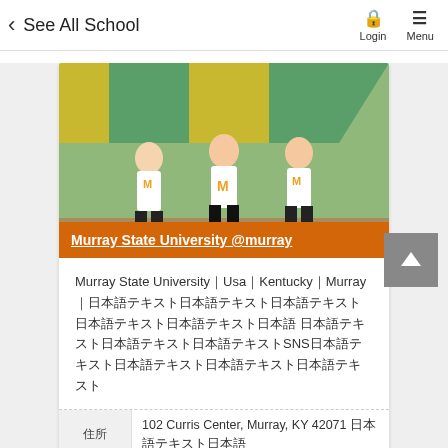< See All School  Login  Menu
[Figure (photo): Cheerleaders in white Murray State University t-shirts performing on a field with yellow and green background]
Murray State University @murray
Murray State University｜Usa｜Kentucky｜Murray｜日本語テキスト SNS日本語テキスト
| 住所 | 102 Curris Center, Murray, KY 42071 日本語テキスト |
| 学校の種類 | University/College |